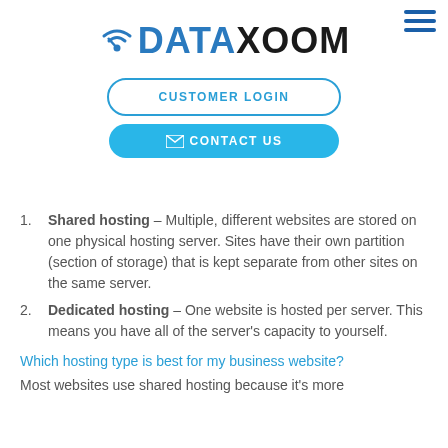DATAXOOM — navigation with CUSTOMER LOGIN and CONTACT US buttons
Shared hosting – Multiple, different websites are stored on one physical hosting server. Sites have their own partition (section of storage) that is kept separate from other sites on the same server.
Dedicated hosting – One website is hosted per server. This means you have all of the server's capacity to yourself.
Which hosting type is best for my business website?
Most websites use shared hosting because it's more